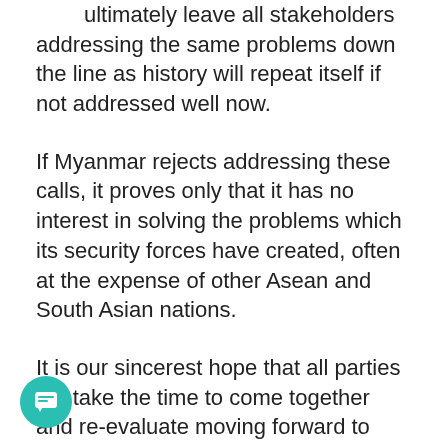ultimately leave all stakeholders addressing the same problems down the line as history will repeat itself if not addressed well now.
If Myanmar rejects addressing these calls, it proves only that it has no interest in solving the problems which its security forces have created, often at the expense of other Asean and South Asian nations.
It is our sincerest hope that all parties will take the time to come together and re-evaluate moving forward to resolve these issues in a way which considers the safety, rights and dignity of those most affected while taking the time to listen to them directly.